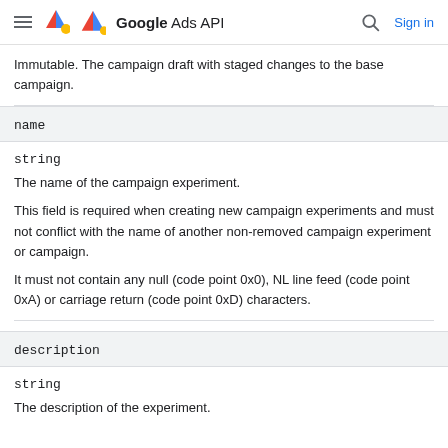Google Ads API — Sign in
Immutable. The campaign draft with staged changes to the base campaign.
name
string
The name of the campaign experiment.
This field is required when creating new campaign experiments and must not conflict with the name of another non-removed campaign experiment or campaign.
It must not contain any null (code point 0x0), NL line feed (code point 0xA) or carriage return (code point 0xD) characters.
description
string
The description of the experiment.